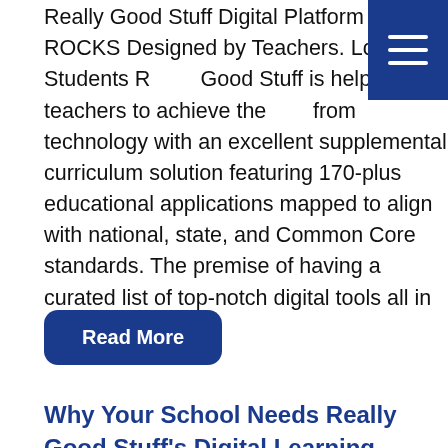Really Good Stuff Digital Platform ~ ROCKS Designed by Teachers. Loved by Students Really Good Stuff is helping teachers to achieve the best from technology with an excellent supplemental curriculum solution featuring 170-plus educational applications mapped to align with national, state, and Common Core standards. The premise of having a curated list of top-notch digital tools all in one…
[Figure (other): Dark blue navigation/hamburger menu button with three white horizontal lines]
Read More
Why Your School Needs Really Good Stuff's Digital Learning Collection
[Figure (photo): Collection of educational app icons including Simple Machines, Code Karts, Todo Math, Homer]
[Figure (other): Loading spinner / gear icon in grey]